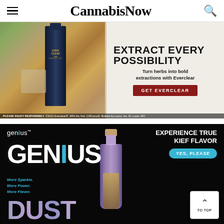CannabisNow
[Figure (photo): Everclear grain alcohol advertisement showing bottle, dropper bottles, and mason jar with text 'EXTRACT EVERY POSSIBILITY - Turn herbs into bold extractions with Everclear - GET EVERCLEAR'. Disclaimer: PLEASE ENJOY RESPONSIBLY. ©2022 Everclear®, 95% Alc./Vol. (190 proof). Bottled by Luxco, Inc. St. Louis, MO]
[Figure (photo): Genius Dust advertisement on black background showing 'genius' logo, large 'GENIUS DUST' text, purple bottle, text 'EXPERIENCE TRUE KIEF FLAVOR', 'YES, PLEASE' button, and 'More Sparkle. More Power. More Flavor.' tagline]